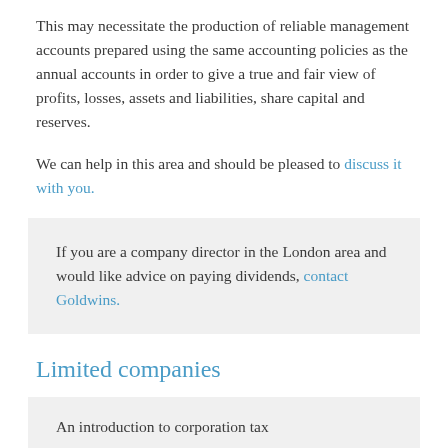This may necessitate the production of reliable management accounts prepared using the same accounting policies as the annual accounts in order to give a true and fair view of profits, losses, assets and liabilities, share capital and reserves.
We can help in this area and should be pleased to discuss it with you.
If you are a company director in the London area and would like advice on paying dividends, contact Goldwins.
Limited companies
An introduction to corporation tax